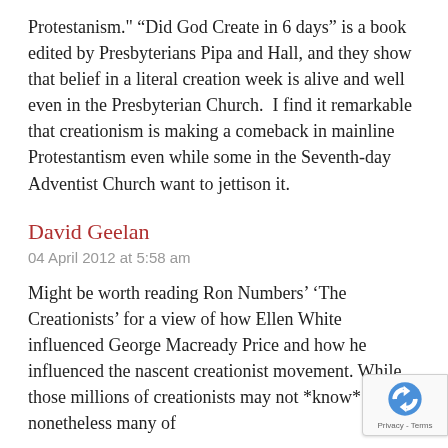Protestanism." "Did God Create in 6 days" is a book edited by Presbyterians Pipa and Hall, and they show that belief in a literal creation week is alive and well even in the Presbyterian Church.  I find it remarkable that creationism is making a comeback in mainline Protestantism even while some in the Seventh-day Adventist Church want to jettison it.
David Geelan
04 April 2012 at 5:58 am
Might be worth reading Ron Numbers' 'The Creationists' for a view of how Ellen White influenced George Macready Price and how he influenced the nascent creationist movement. While those millions of creationists may not *know* it, nonetheless many of